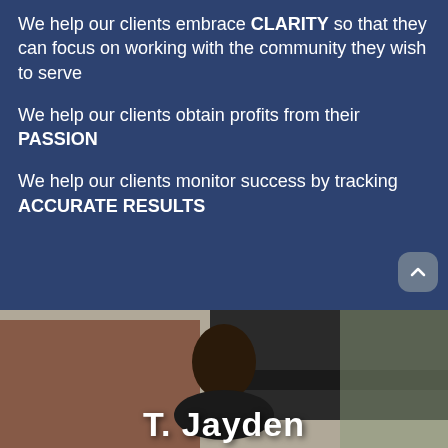We help our clients embrace CLARITY so that they can focus on working with the community they wish to serve
We help our clients obtain profits from their PASSION
We help our clients monitor success by tracking ACCURATE RESULTS
[Figure (photo): Photo of a person (T. Jayden) standing outdoors in front of a brick building with dark awnings, looking upward. The name 'T. Jayden' appears as large bold white text overlaid at the bottom of the photo.]